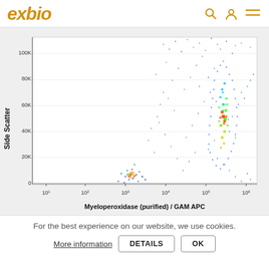[Figure (logo): exbio logo in gold/orange italic bold text]
[Figure (continuous-plot): Flow cytometry scatter plot showing Side Scatter (y-axis, 0 to 100K) vs Myeloperoxidase (purified) / GAM APC (x-axis, 10^1 to 10^6). Two cell populations visible: a lower left cluster and a tall right cluster with heat-map coloring (blue to red-green). Data points are colored by density (blue=sparse, red/green=dense).]
For the best experience on our website, we use cookies.
More information
DETAILS
OK